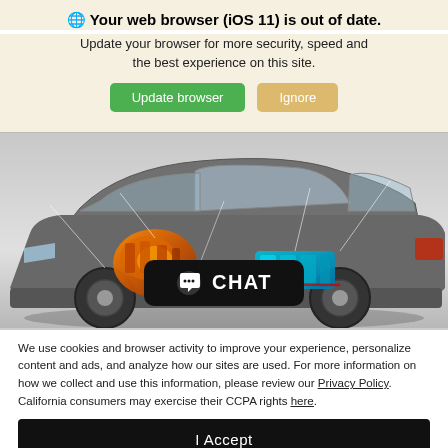🌐 Your web browser (iOS 11) is out of date.
Update your browser for more security, speed and the best experience on this site.
[Figure (screenshot): Two buttons: green 'Update browser' button and tan 'Ignore' button]
[Figure (illustration): Cutaway/x-ray illustration of a Lexus hybrid SUV showing internal components including orange engine, blue battery pack, and drivetrain with a CHAT button overlay]
We use cookies and browser activity to improve your experience, personalize content and ads, and analyze how our sites are used. For more information on how we collect and use this information, please review our Privacy Policy. California consumers may exercise their CCPA rights here.
I Accept